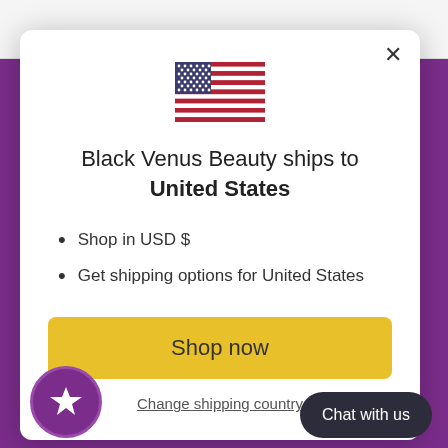[Figure (illustration): US flag emoji]
Black Venus Beauty ships to United States
Shop in USD $
Get shipping options for United States
Shop now
Change shipping country
Chat with us